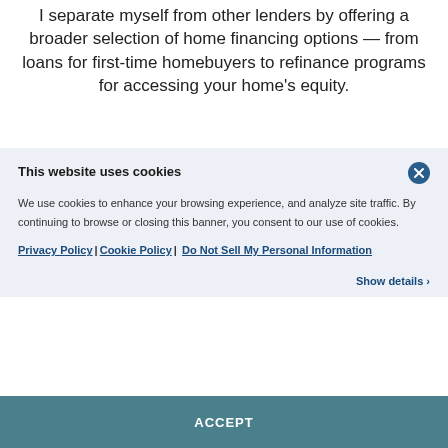I separate myself from other lenders by offering a broader selection of home financing options — from loans for first-time homebuyers to refinance programs for accessing your home's equity.
This website uses cookies
We use cookies to enhance your browsing experience, and analyze site traffic. By continuing to browse or closing this banner, you consent to our use of cookies.
Privacy Policy | Cookie Policy | Do Not Sell My Personal Information
Show details ›
ACCEPT